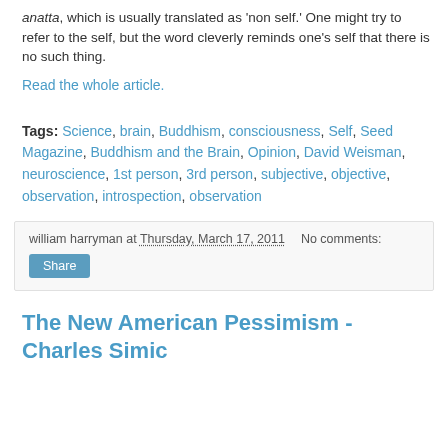anatta, which is usually translated as 'non self.' One might try to refer to the self, but the word cleverly reminds one's self that there is no such thing.
Read the whole article.
Tags: Science, brain, Buddhism, consciousness, Self, Seed Magazine, Buddhism and the Brain, Opinion, David Weisman, neuroscience, 1st person, 3rd person, subjective, objective, observation, introspection, observation
william harryman at Thursday, March 17, 2011   No comments:
Share
The New American Pessimism - Charles Simic